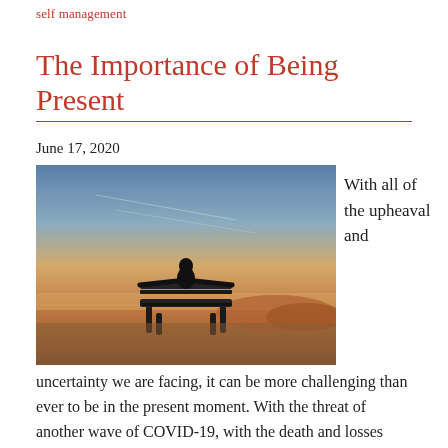self management
The Importance of Being Present
June 17, 2020
[Figure (photo): A person sitting on a bench outdoors, viewed from behind, with arms spread along the back of the bench, looking out at a scenic landscape at dusk or dawn with a gradient sky.]
With all of the upheaval and
uncertainty we are facing, it can be more challenging than ever to be in the present moment. With the threat of another wave of COVID-19, with the death and losses already